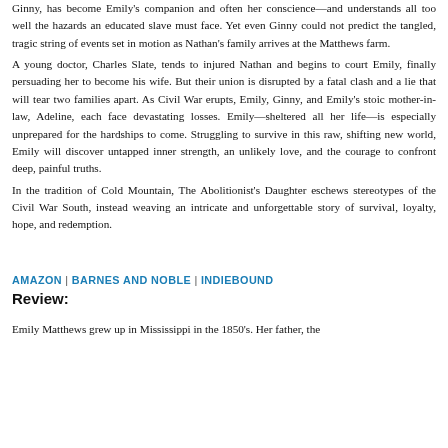Ginny, has become Emily's companion and often her conscience—and understands all too well the hazards an educated slave must face. Yet even Ginny could not predict the tangled, tragic string of events set in motion as Nathan's family arrives at the Matthews farm.
A young doctor, Charles Slate, tends to injured Nathan and begins to court Emily, finally persuading her to become his wife. But their union is disrupted by a fatal clash and a lie that will tear two families apart. As Civil War erupts, Emily, Ginny, and Emily's stoic mother-in-law, Adeline, each face devastating losses. Emily—sheltered all her life—is especially unprepared for the hardships to come. Struggling to survive in this raw, shifting new world, Emily will discover untapped inner strength, an unlikely love, and the courage to confront deep, painful truths.
In the tradition of Cold Mountain, The Abolitionist's Daughter eschews stereotypes of the Civil War South, instead weaving an intricate and unforgettable story of survival, loyalty, hope, and redemption.
AMAZON | BARNES AND NOBLE | INDIEBOUND
Review:
Emily Matthews grew up in Mississippi in the 1850's. Her father, the